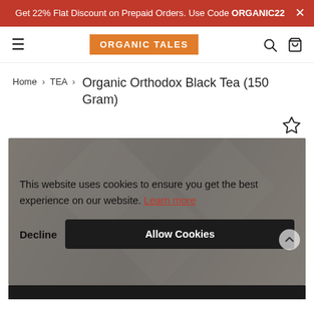Get 22% Flat Discount on Prepaid Orders. Use Code ORGANIC22
[Figure (logo): Organic Tales logo - orange background with white bold text]
Home > TEA > Organic Orthodox Black Tea (150 Gram)
This website uses cookies to ensure you get the best experience on our website. Learn more
Decline
Allow Cookies
[Figure (photo): Product image of Organic Orthodox Black Tea with wooden background, partially obscured by cookie consent overlay]